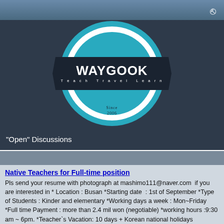[Figure (logo): Waygook logo — circular badge with teal outer ring, white inner ring, dark ribbon across center reading WAYGOOK in bold white, tagline 'Teach Travel Learn' in white, and 'Since 2006' at bottom, all on a dark navy background.]
"Open" Discussions
Native Teachers for Full-time position
Pls send your resume with photograph at mashimo111@naver.com  if you are interested in * Location : Busan *Starting date  : 1st of September *Type of Students : Kinder and elementary *Working days a week : Mon~Friday *Full time Payment : more than 2.4 mil won (negotiable) *working hours :9:30 am ~ 6pm. *Teacher`s Vacation: 10 days + Korean national holidays *Condition : providing a Housing fee or